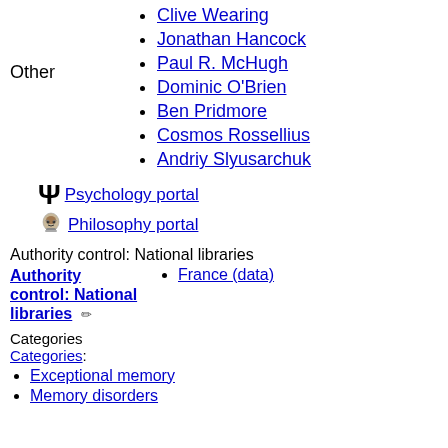Clive Wearing
Jonathan Hancock
Paul R. McHugh
Dominic O'Brien
Ben Pridmore
Cosmos Rossellius
Andriy Slyusarchuk
Psychology portal
Philosophy portal
Authority control: National libraries
Authority control: National libraries
France (data)
Categories
Categories:
Exceptional memory
Memory disorders